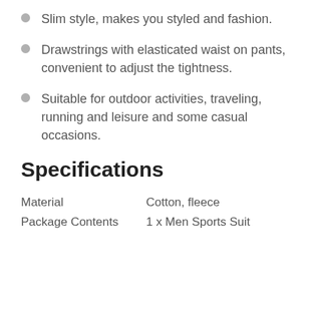Slim style, makes you styled and fashion.
Drawstrings with elasticated waist on pants, convenient to adjust the tightness.
Suitable for outdoor activities, traveling, running and leisure and some casual occasions.
Specifications
| Material | Cotton, fleece |
| Package Contents | 1 x Men Sports Suit |